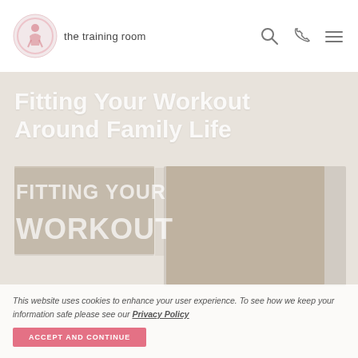[Figure (logo): The Training Room logo — circular pink icon with a figure, next to text 'the training room']
the training room
Fitting Your Workout Around Family Life
[Figure (photo): Faint background photo collage showing fitness/family scenes with overlay text 'FITTING YOUR WORKOUT']
This website uses cookies to enhance your user experience. To see how we keep your information safe please see our Privacy Policy
ACCEPT AND CONTINUE